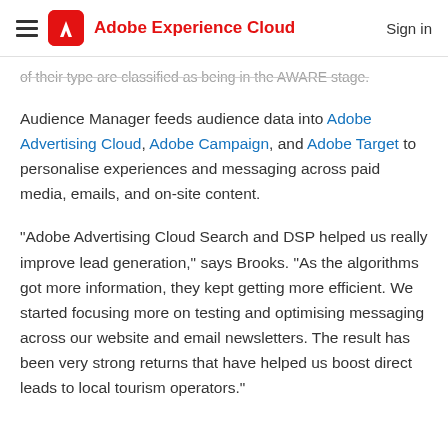Adobe Experience Cloud — Sign in
of their type are classified as being in the AWARE stage.
Audience Manager feeds audience data into Adobe Advertising Cloud, Adobe Campaign, and Adobe Target to personalise experiences and messaging across paid media, emails, and on-site content.
"Adobe Advertising Cloud Search and DSP helped us really improve lead generation," says Brooks. "As the algorithms got more information, they kept getting more efficient. We started focusing more on testing and optimising messaging across our website and email newsletters. The result has been very strong returns that have helped us boost direct leads to local tourism operators."